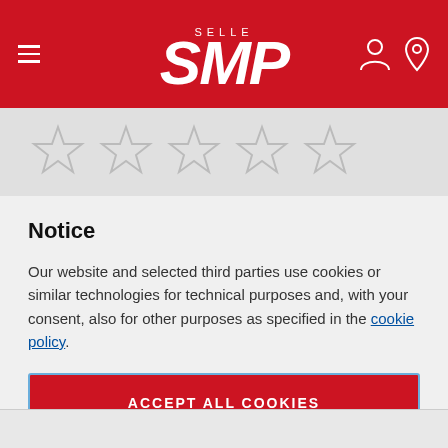Selle SMP
[Figure (other): Five empty star rating icons in a row on a grey background]
Notice
Our website and selected third parties use cookies or similar technologies for technical purposes and, with your consent, also for other purposes as specified in the cookie policy.
ACCEPT ALL COOKIES
PRIVACY PREFERENCES